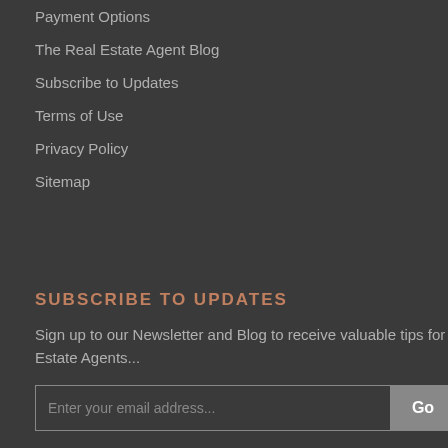Payment Options
The Real Estate Agent Blog
Subscribe to Updates
Terms of Use
Privacy Policy
Sitemap
SUBSCRIBE TO UPDATES
Sign up to our Newsletter and Blog to receive valuable tips for Estate Agents...
Enter your email address...  Go